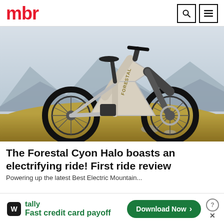mbr
[Figure (photo): A Forestal Cyon Halo electric mountain bike in silver/white colorway parked on a grassy alpine hillside with mountain scenery in the background.]
The Forestal Cyon Halo boasts an electrifying ride! First ride review
...
[Figure (infographic): Tally app advertisement banner: 'Fast credit card payoff' with a Download Now button in green.]